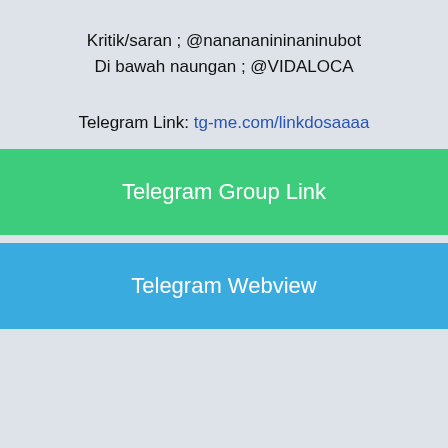Kritik/saran ; @nanananininaninubot
Di bawah naungan ; @VIDALOCA
Telegram Link: tg-me.com/linkdosaaaa
Telegram Group Link
Telegram Webview